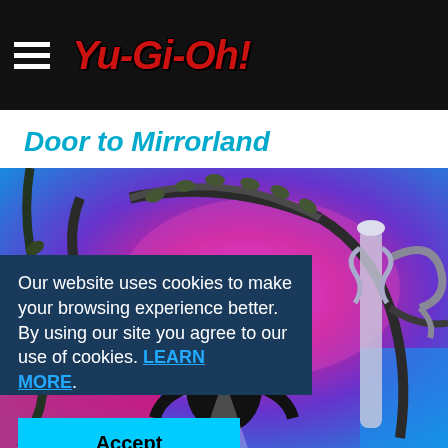Yu-Gi-Oh! navigation bar with hamburger menu and logo
Door to Mirrorland
[Figure (illustration): Anime-style illustration from Yu-Gi-Oh! showing a dark doll-like character with glowing red eyes standing in front of a decorative vine/branch archway against a vivid pink, blue, and purple swirling background.]
Our website uses cookies to make your browsing experience better. By using our site you agree to our use of cookies. LEARN MORE.
Accept